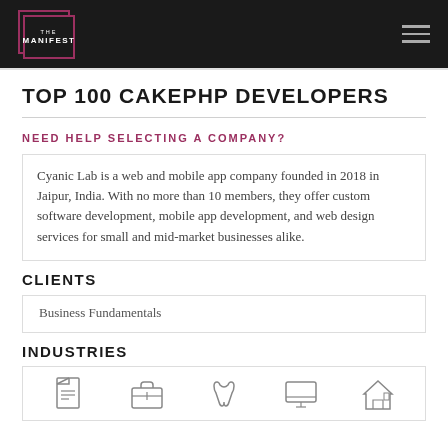THE MANIFEST
TOP 100 CAKEPHP DEVELOPERS
NEED HELP SELECTING A COMPANY?
Cyanic Lab is a web and mobile app company founded in 2018 in Jaipur, India. With no more than 10 members, they offer custom software development, mobile app development, and web design services for small and mid-market businesses alike.
CLIENTS
Business Fundamentals
INDUSTRIES
[Figure (illustration): Row of industry category icons at the bottom of the page]